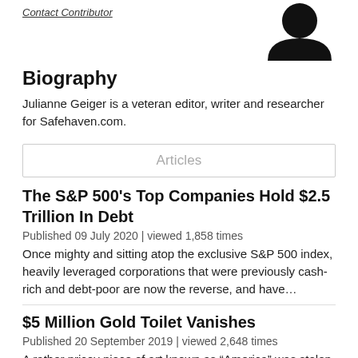Contact Contributor
[Figure (photo): Profile photo silhouette of contributor, dark/black background shape of a person's head and shoulders]
Biography
Julianne Geiger is a veteran editor, writer and researcher for Safehaven.com.
Articles
The S&P 500's Top Companies Hold $2.5 Trillion In Debt
Published 09 July 2020 | viewed 1,858 times
Once mighty and sitting atop the exclusive S&P 500 index, heavily leveraged corporations that were previously cash-rich and debt-poor are now the reverse, and have…
$5 Million Gold Toilet Vanishes
Published 20 September 2019 | viewed 2,648 times
A rather pricey piece of art known as “America” was stolen from Blenheim Palace, Thames Valley Police have